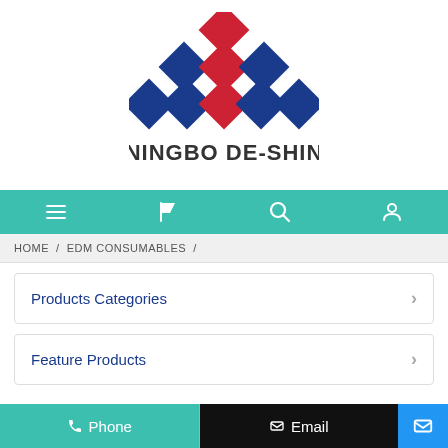[Figure (logo): Ningbo De-Shin company logo: a diamond grid pattern in red and blue squares arranged in a triangle shape, with text NINGBO DE-SHIN below]
Navigation bar with menu, flag, search, and user icons
HOME / EDM CONSUMABLES /
Products Categories
Feature Products
Filter BD06080425U
Phone | Email